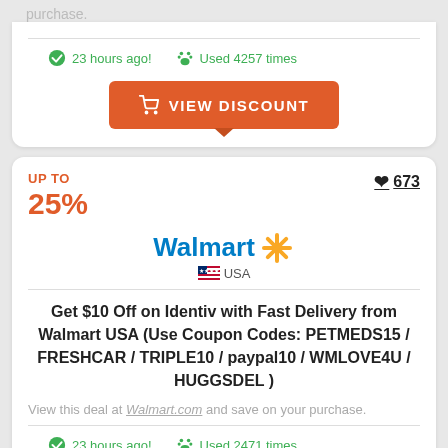purchase.
23 hours ago!   Used 4257 times
[Figure (other): Orange VIEW DISCOUNT button with shopping cart icon]
UP TO 25%
673 likes
[Figure (logo): Walmart logo with spark and USA flag label]
Get $10 Off on Identiv with Fast Delivery from Walmart USA (Use Coupon Codes: PETMEDS15 / FRESHCAR / TRIPLE10 / paypal10 / WMLOVE4U / HUGGSDEL )
View this deal at Walmart.com and save on your purchase.
23 hours ago!   Used 2471 times
[Figure (other): Orange VIEW DISCOUNT button with shopping cart icon]